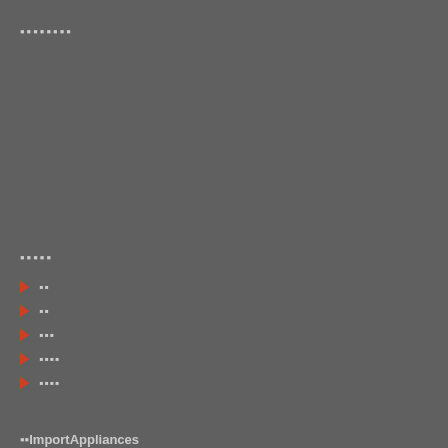▪▪▪▪▪▪▪▪
▪▪▪▪▪
▶ ▪▪
▶ ▪▪
▶ ▪▪▪
▶ ▪▪▪▪
▶ ▪▪▪▪
▪▪ImportAppliances